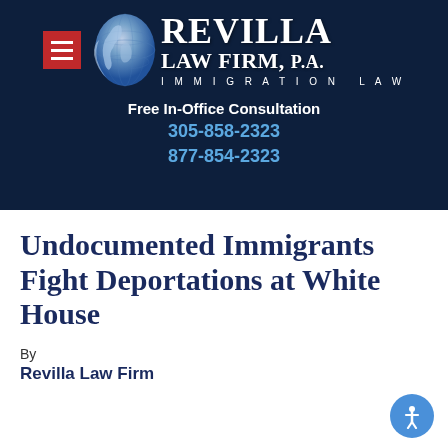[Figure (logo): Revilla Law Firm, P.A. logo banner — dark navy background with globe graphic, red hamburger menu icon, firm name 'REVILLA LAW FIRM, P.A.' in white serif font, 'IMMIGRATION LAW' tagline, 'Free In-Office Consultation' text, and phone numbers 305-858-2323 and 877-854-2323 in blue]
Undocumented Immigrants Fight Deportations at White House
By
Revilla Law Firm